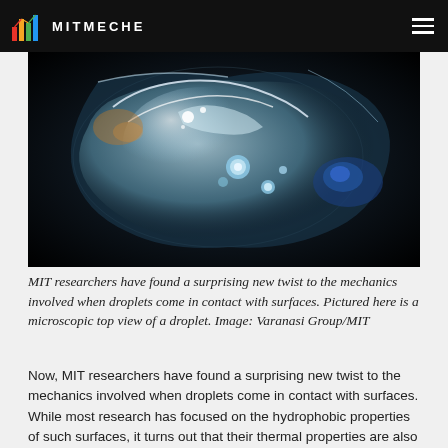MITMECHE
[Figure (photo): Microscopic top view of a water droplet on a surface, showing intricate crystalline/liquid structures with blue and orange reflections against a dark background. Image by Varanasi Group/MIT.]
MIT researchers have found a surprising new twist to the mechanics involved when droplets come in contact with surfaces. Pictured here is a microscopic top view of a droplet. Image: Varanasi Group/MIT
Now, MIT researchers have found a surprising new twist to the mechanics involved when droplets come in contact with surfaces. While most research has focused on the hydrophobic properties of such surfaces, it turns out that their thermal properties are also crucially important — and provide an unexpected opportunity to "tune" those surfaces to meet the exact needs of a given application. The new results are